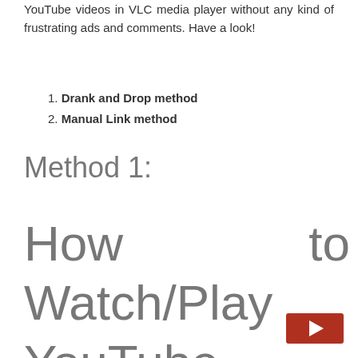YouTube videos in VLC media player without any kind of frustrating ads and comments. Have a look!
1. Drank and Drop method
2. Manual Link method
Method 1:
How to Watch/Play YouTube Videos in VLC Media Player through